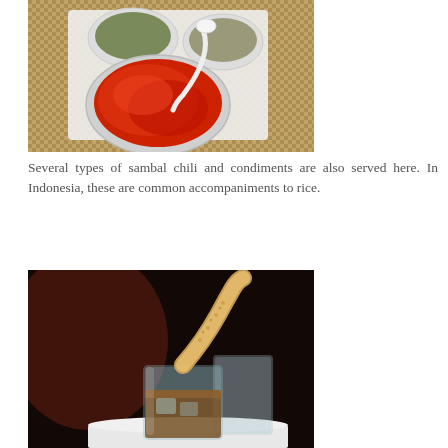[Figure (photo): Overhead view of sambal chili condiments in white ceramic bowls on a woven brown placemat, with a white spoon]
Several types of sambal chili and condiments are also served here. In Indonesia, these are common accompaniments to rice.
[Figure (photo): A glass of iced coffee or tea drink with a large crispy cracker/kerupuk wafer balanced on top, shot in dark ambient lighting]